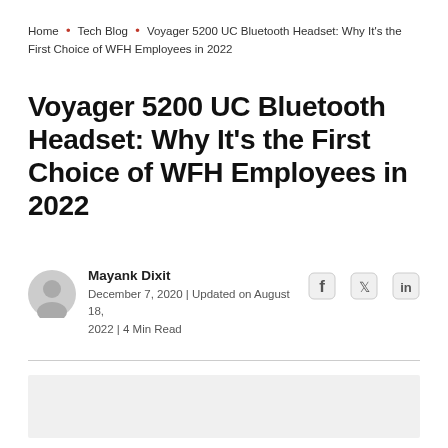Home • Tech Blog • Voyager 5200 UC Bluetooth Headset: Why It's the First Choice of WFH Employees in 2022
Voyager 5200 UC Bluetooth Headset: Why It's the First Choice of WFH Employees in 2022
Mayank Dixit
December 7, 2020 | Updated on August 18, 2022 | 4 Min Read
[Figure (photo): Light grey placeholder image area at the bottom of the page]